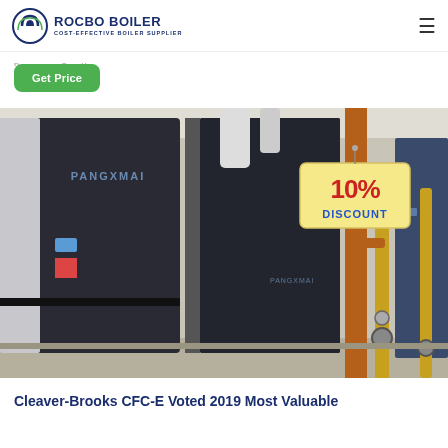ROCBO BOILER — COST-EFFECTIVE BOILER SUPPLIER
(partial navigation/link text above Get Price button)
Get Price
[Figure (photo): Industrial boilers in a facility. Large dark-colored boilers labeled 'PANGXMAI' on the left, with orange and yellow pipes on the right side. A promotional tag reading '10% DISCOUNT' is overlaid on the upper right area of the image.]
Cleaver-Brooks CFC-E Voted 2019 Most Valuable